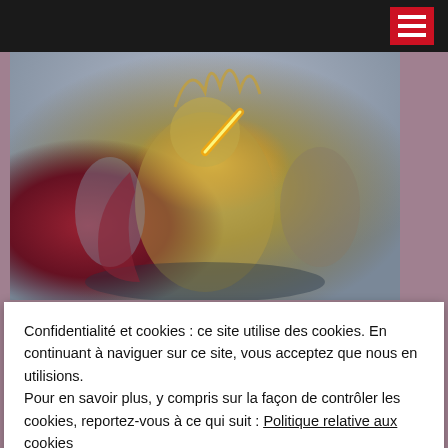[Figure (photo): Fantasy warrior in golden armor with feathered crest holding a large weapon, flanked by other armored figures in a dramatic battle scene — Warhammer 40,000 artwork]
21 août 2022  0
Warhammer 40,000: Frank Spotnitz développe une série
Confidentialité et cookies : ce site utilise des cookies. En continuant à naviguer sur ce site, vous acceptez que nous en utilisions. Pour en savoir plus, y compris sur la façon de contrôler les cookies, reportez-vous à ce qui suit : Politique relative aux cookies
Fermer et accepter
Outlander: Blood of My Blood: